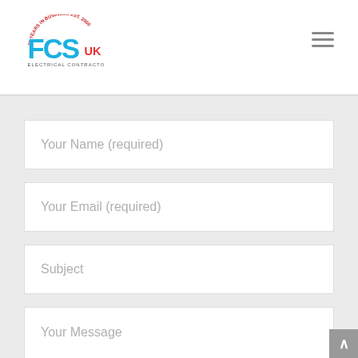[Figure (logo): FCS UK Electrical Contractors logo with '25 Years in Business EST. 2000' text in an arc above the logo]
[Figure (other): Hamburger menu icon consisting of three horizontal lines]
Your Name (required)
Your Email (required)
Subject
Your Message